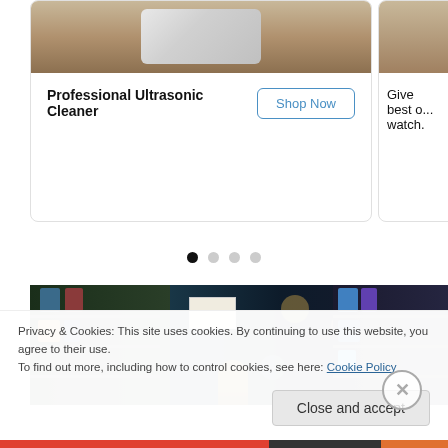[Figure (photo): Partial view of product cards in a carousel. Left card shows 'Professional Ultrasonic Cleaner' with a Shop Now button. Right card partially visible with text 'Give best o... watch.']
Professional Ultrasonic Cleaner
Shop Now
Give best o... watch.
[Figure (infographic): Carousel navigation dots: one filled black (active), three light gray (inactive)]
[Figure (photo): Supermarket aisle photo showing shelves with products, bokeh background lights, a price tag, and a woman browsing products]
Privacy & Cookies: This site uses cookies. By continuing to use this website, you agree to their use.
To find out more, including how to control cookies, see here: Cookie Policy
Close and accept